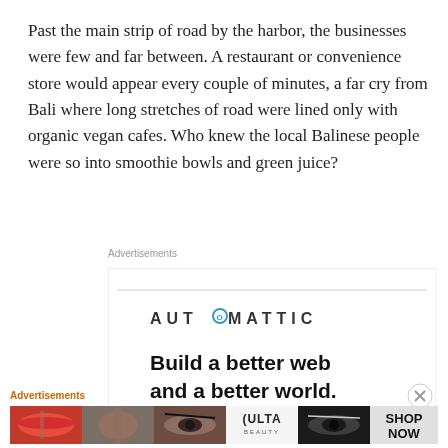Past the main strip of road by the harbor, the businesses were few and far between. A restaurant or convenience store would appear every couple of minutes, a far cry from Bali where long stretches of road were lined only with organic vegan cafes. Who knew the local Balinese people were so into smoothie bowls and green juice?
Advertisements
[Figure (infographic): Automattic advertisement: white background with AUTOMATTIC logo in bold spaced letters and a circled O, horizontal divider line, and bold text reading 'Build a better web and a better world.']
Advertisements
[Figure (photo): ULTA Beauty advertisement banner showing cosmetic imagery: close-up of red lips with makeup brush, eye with dramatic makeup, the ULTA Beauty logo on white background, another eye with dramatic makeup on dark background, and a gray SHOP NOW button area.]